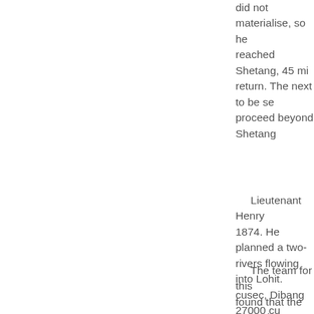did not materialise, so he reached Shetang, 45 mi... return. The next to be se... proceed beyond Shetang
Lieutenant Henry 1874. He planned a two- rivers flowing into Lohit. cusec, Dibang 27000 cu provided circumstantial was the connecting link.
The team for this found that the river's init changed to due east and highest peaks of the eas Peri 23031 ft (7294 m)